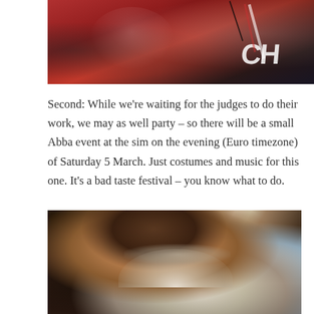[Figure (photo): Top portion of a photograph showing a person in red clothing with partial text 'CH' visible]
Second: While we're waiting for the judges to do their work, we may as well party – so there will be a small Abba event at the sim on the evening (Euro timezone) of Saturday 5 March. Just costumes and music for this one. It's a bad taste festival – you know what to do.
[Figure (photo): Photograph of a man in Renaissance/Elizabethan costume with a ruff collar, dark curly hair and beard, looking sideways with mouth slightly open]